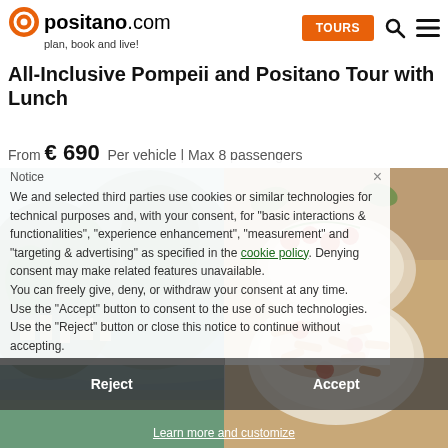positano.com — plan, book and live! | TOURS
All-Inclusive Pompeii and Positano Tour with Lunch
From €690 Per vehicle | Max 8 passengers
[Figure (photo): Background photos: left panel shows Positano/Pompeii coastal town with greenery; right panel shows pasta dish with tomatoes]
Notice
We and selected third parties use cookies or similar technologies for technical purposes and, with your consent, for "basic interactions & functionalities", "experience enhancement", "measurement" and "targeting & advertising" as specified in the cookie policy. Denying consent may make related features unavailable.
You can freely give, deny, or withdraw your consent at any time.
Use the "Accept" button to consent to the use of such technologies. Use the "Reject" button or close this notice to continue without accepting.
Reject
Accept
Learn more and customize